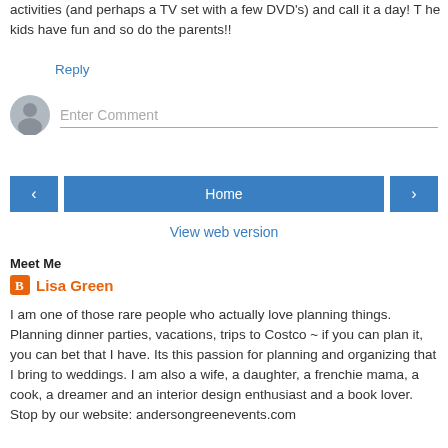activities (and perhaps a TV set with a few DVD's) and call it a day! T he kids have fun and so do the parents!!
Reply
[Figure (other): Comment input field with avatar icon placeholder and 'Enter Comment' placeholder text]
[Figure (other): Navigation bar with left arrow button, Home button, and right arrow button]
View web version
Meet Me
Lisa Green
I am one of those rare people who actually love planning things. Planning dinner parties, vacations, trips to Costco ~ if you can plan it, you can bet that I have. Its this passion for planning and organizing that I bring to weddings. I am also a wife, a daughter, a frenchie mama, a cook, a dreamer and an interior design enthusiast and a book lover. Stop by our website: andersongreenevents.com